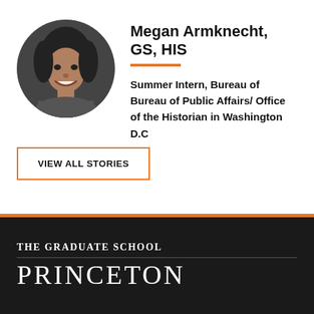[Figure (photo): Black and white circular portrait photo of Megan Armknecht, a young woman smiling]
Megan Armknecht, GS, HIS
Summer Intern, Bureau of Bureau of Public Affairs/ Office of the Historian in Washington D.C
VIEW ALL STORIES
THE GRADUATE SCHOOL
PRINCETON